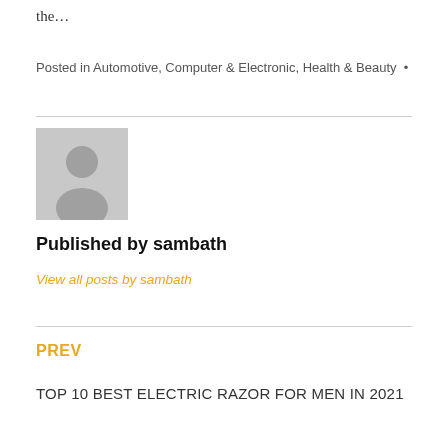the…
Posted in Automotive, Computer & Electronic, Health & Beauty •
[Figure (illustration): Grey placeholder avatar/profile image showing a silhouette of a person]
Published by sambath
View all posts by sambath
PREV
TOP 10 BEST ELECTRIC RAZOR FOR MEN IN 2021